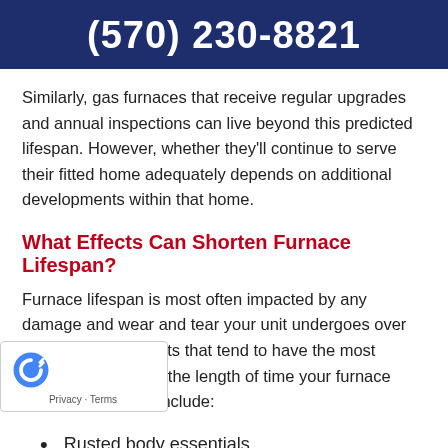(570) 230-8821
Similarly, gas furnaces that receive regular upgrades and annual inspections can live beyond this predicted lifespan. However, whether they’ll continue to serve their fitted home adequately depends on additional developments within that home.
What Effects Can Shorten Furnace Lifespan?
Furnace lifespan is most often impacted by any damage and wear and tear your unit undergoes over the years. The effects that tend to have the most profound impact on the length of time your furnace serves your home include:
Rusted body essentials
Pilot control problems
Inefficient heating and cycling